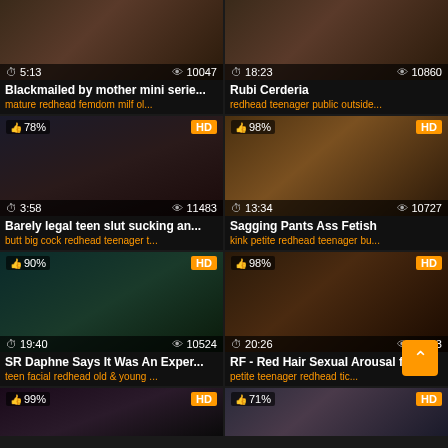[Figure (screenshot): Video thumbnail grid - top left, dark room scene, duration 5:13, views 10047]
Blackmailed by mother mini serie...
mature redhead femdom milf ol...
[Figure (screenshot): Video thumbnail grid - top right, duration 18:23, views 10860]
Rubi Cerderia
redhead teenager public outside...
[Figure (screenshot): Video thumbnail - 78% like, HD, duration 3:58, views 11483]
Barely legal teen slut sucking an...
butt big cock redhead teenager t...
[Figure (screenshot): Video thumbnail - 98% like, HD, duration 13:34, views 10727]
Sagging Pants Ass Fetish
kink petite redhead teenager bu...
[Figure (screenshot): Video thumbnail - 90% like, HD, duration 19:40, views 10524]
SR Daphne Says It Was An Exper...
teen facial redhead old & young ...
[Figure (screenshot): Video thumbnail - 98% like, HD, duration 20:26, views 11853]
RF - Red Hair Sexual Arousal fro...
petite teenager redhead tic...
[Figure (screenshot): Video thumbnail - 99% like, HD, bottom left partial]
[Figure (screenshot): Video thumbnail - 71% like, HD, bottom right partial]